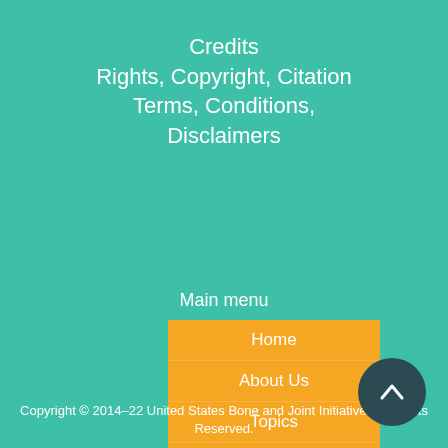Credits
Rights, Copyright, Citation
Terms, Conditions,
Disclaimers
Main menu
Home
About Us
Topics
Archive
Methodology
Resources
Contact Us
Copyright © 2014–22 United States Bone and Joint Initiative. All Rights Reserved.